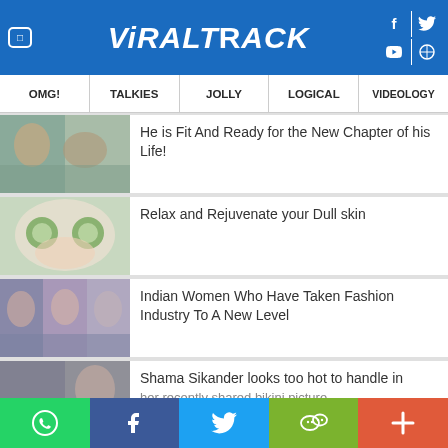[Figure (screenshot): ViralTrack website header with blue background, logo, and social media icons]
ViRaLTRaCK
OMG! | TALKIES | JOLLY | LOGICAL | VIDEOLOGY
[Figure (photo): People on beach thumbnail]
He is Fit And Ready for the New Chapter of his Life!
[Figure (photo): Woman with cucumber slices on eyes thumbnail]
Relax and Rejuvenate your Dull skin
[Figure (photo): Indian women fashion collage thumbnail]
Indian Women Who Have Taken Fashion Industry To A New Level
[Figure (photo): Shama Sikander thumbnail]
Shama Sikander looks too hot to handle in her recently shared bikini picture